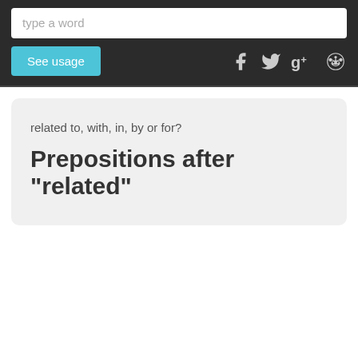type a word
See usage
related to, with, in, by or for?
Prepositions after "related"